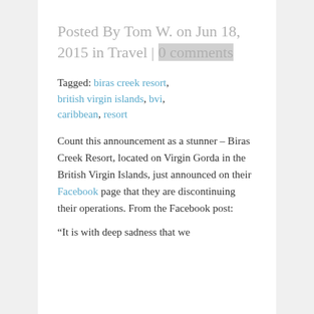Posted By Tom W. on Jun 18, 2015 in Travel | 0 comments
Tagged: biras creek resort, british virgin islands, bvi, caribbean, resort
Count this announcement as a stunner – Biras Creek Resort, located on Virgin Gorda in the British Virgin Islands, just announced on their Facebook page that they are discontinuing their operations. From the Facebook post:
“It is with deep sadness that we